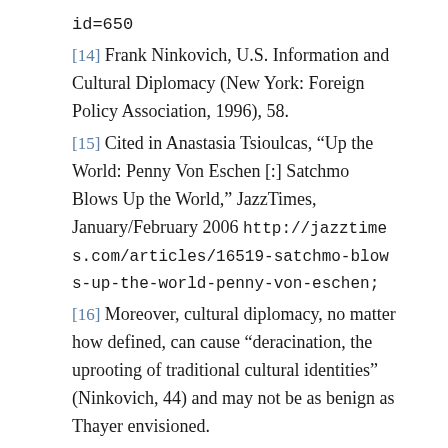id=650
[14] Frank Ninkovich, U.S. Information and Cultural Diplomacy (New York: Foreign Policy Association, 1996), 58.
[15] Cited in Anastasia Tsioulcas, “Up the World: Penny Von Eschen [:] Satchmo Blows Up the World,” JazzTimes, January/February 2006 http://jazztimes.com/articles/16519-satchmo-blows-up-the-world-penny-von-eschen;
[16] Moreover, cultural diplomacy, no matter how defined, can cause “deracination, the uprooting of traditional cultural identities” (Ninkovich, 44) and may not be as benign as Thayer envisioned.
[17] “Arts in Embassies” is one of the State Department’s best (and least known) cultural diplomacy programs (see http://state.gov/...)